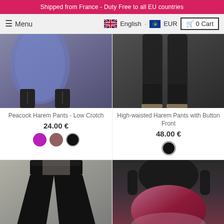Shipped from France - Duty Free to all EU countries
≡ Menu   English   EUR   🛒 0 Cart
[Figure (photo): Product photo: Peacock Harem Pants - Low Crotch, showing lower body with black lace-up boots and blue/purple floral harem pants]
Peacock Harem Pants - Low Crotch
24.00 €
[Figure (photo): Color swatches: purple, mauve, black]
[Figure (photo): Product photo: High-waisted Harem Pants with Button Front, showing lower body with black boots and black pants]
High-waisted Harem Pants with Button Front
48.00 €
[Figure (photo): Color swatch: black]
[Figure (photo): Product photo: Black wide-leg pants on model with grey background]
[Figure (photo): Product photo: Model wearing black top and burgundy/pink patterned harem pants]